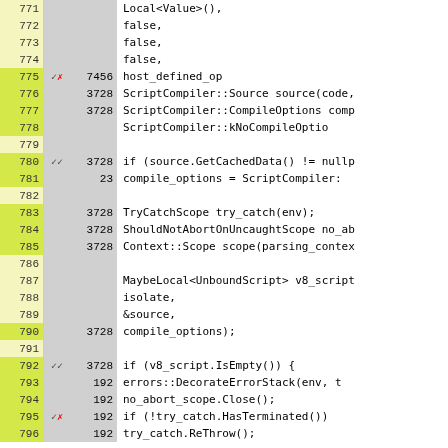| Line | Marker | Count | Code |
| --- | --- | --- | --- |
| 771 |  |  | Local<Value>(), |
| 772 |  |  | false, |
| 773 |  |  | false, |
| 774 |  |  | false, |
| 775 | ✓✗ | 7456 | host_defined_op |
| 776 |  | 3728 | ScriptCompiler::Source source(code, |
| 777 |  | 3728 | ScriptCompiler::CompileOptions comp |
| 778 |  |  | ScriptCompiler::kNoCompileOptio |
| 779 |  |  |  |
| 780 | ✓✓ | 3728 | if (source.GetCachedData() != nullp |
| 781 |  | 23 | compile_options = ScriptCompiler: |
| 782 |  |  |  |
| 783 |  | 3728 | TryCatchScope try_catch(env); |
| 784 |  | 3728 | ShouldNotAbortOnUncaughtScope no_ab |
| 785 |  | 3728 | Context::Scope scope(parsing_contex |
| 786 |  |  |  |
| 787 |  |  | MaybeLocal<UnboundScript> v8_script |
| 788 |  |  | isolate, |
| 789 |  |  | &source, |
| 790 |  | 3728 | compile_options); |
| 791 |  |  |  |
| 792 | ✓✓ | 3728 | if (v8_script.IsEmpty()) { |
| 793 |  | 192 | errors::DecorateErrorStack(env, t |
| 794 |  | 192 | no_abort_scope.Close(); |
| 795 | ✓✗ | 192 | if (!try_catch.HasTerminated()) |
| 796 |  | 192 | try_catch.ReThrow(); |